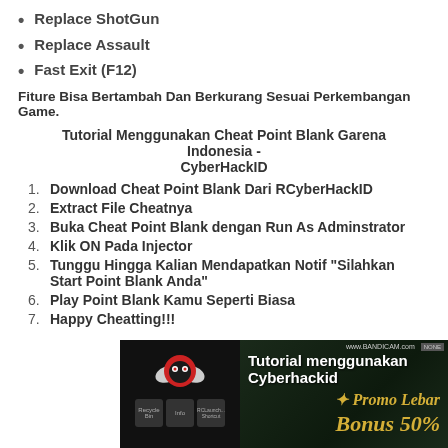Replace ShotGun
Replace Assault
Fast Exit (F12)
Fiture Bisa Bertambah Dan Berkurang Sesuai Perkembangan Game.
Tutorial Menggunakan Cheat Point Blank Garena Indonesia - CyberHackID
Download Cheat Point Blank Dari RCyberHackID
Extract File Cheatnya
Buka Cheat Point Blank dengan Run As Adminstrator
Klik ON Pada Injector
Tunggu Hingga Kalian Mendapatkan Notif "Silahkan Start Point Blank Anda"
Play Point Blank Kamu Seperti Biasa
Happy Cheatting!!!
[Figure (screenshot): Screenshot of a tutorial video thumbnail showing 'Tutorial menggunakan Cyberhackid' with a logo on the left side and promotional content on the right showing 'Promo Lebar' and 'Bonus 50%' on dark green background, with www.BANDICAM.com watermark]